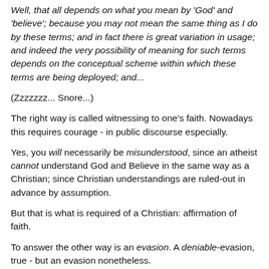Well, that all depends on what you mean by 'God' and 'believe'; because you may not mean the same thing as I do by these terms; and in fact there is great variation in usage; and indeed the very possibility of meaning for such terms depends on the conceptual scheme within which these terms are being deployed; and...
(Zzzzzzz... Snore...)
The right way is called witnessing to one's faith. Nowadays this requires courage - in public discourse especially.
Yes, you will necessarily be misunderstood, since an atheist cannot understand God and Believe in the same way as a Christian; since Christian understandings are ruled-out in advance by assumption.
But that is what is required of a Christian: affirmation of faith.
To answer the other way is an evasion. A deniable-evasion, true - but an evasion nonetheless.
Such a person is either too afraid, or too ashamed, publicly